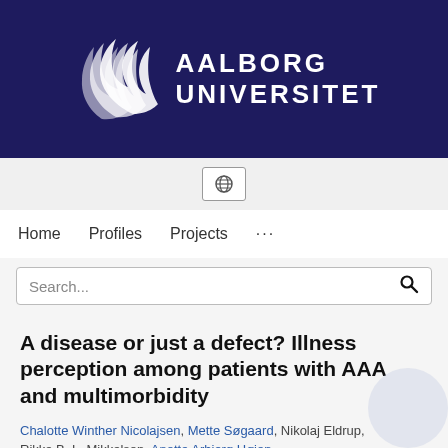[Figure (logo): Aalborg Universitet logo with white flame/wave symbol and text AALBORG UNIVERSITET on dark navy background]
[Figure (other): Globe/language icon button in gray strip below header]
Home   Profiles   Projects   ...
Search...
A disease or just a defect? Illness perception among patients with AAA and multimorbidity
Chalotte Winther Nicolajsen, Mette Søgaard, Nikolaj Eldrup, Rikke B. L. Mikkelsen, Anette Arbjerg Højen